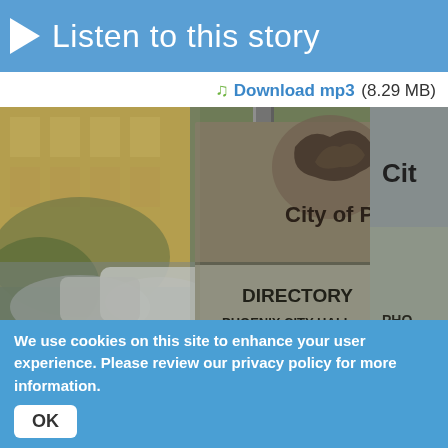Listen to this story
Download mp3 (8.29 MB)
[Figure (photo): Photograph of City of Phoenix directory sign at Phoenix City Hall, showing the Phoenix logo (stylized bird), 'City of Phoenix' text, 'DIRECTORY' and 'PHOENIX CITY HALL' labels on a metal sign structure. Background shows blurred cars and a yellow building.]
We use cookies on this site to enhance your user experience. Please review our privacy policy for more information.
OK